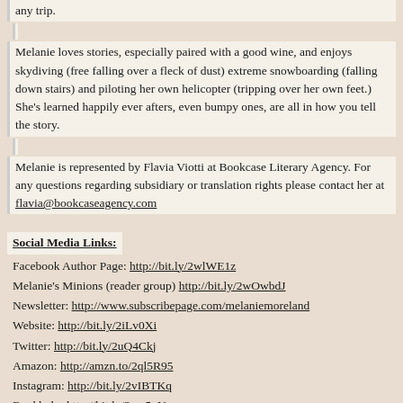any trip.
Melanie loves stories, especially paired with a good wine, and enjoys skydiving (free falling over a fleck of dust) extreme snowboarding (falling down stairs) and piloting her own helicopter (tripping over her own feet.) She's learned happily ever afters, even bumpy ones, are all in how you tell the story.
Melanie is represented by Flavia Viotti at Bookcase Literary Agency. For any questions regarding subsidiary or translation rights please contact her at flavia@bookcaseagency.com
Social Media Links:
Facebook Author Page: http://bit.ly/2wlWE1z
Melanie's Minions (reader group) http://bit.ly/2wOwbdJ
Newsletter: http://www.subscribepage.com/melaniemoreland
Website: http://bit.ly/2iLv0Xi
Twitter: http://bit.ly/2uQ4Ckj
Amazon: http://amzn.to/2ql5R95
Instagram: http://bit.ly/2vIBTKq
Bookbub: http://bit.ly/2vrs5oY